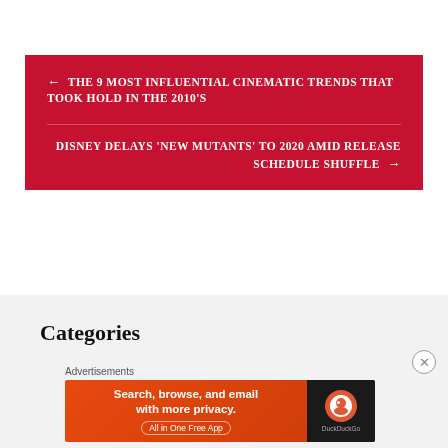← THE 9 MOST INFLUENTIAL CINEMATIC TRENDS THAT TOOK HOLD IN THE 2010'S
DISNEY DELAYS 'NEW MUTANTS' TO 2020 AMID RELEASE SCHEDULE SHUFFLE →
Categories
Advertisements
[Figure (other): DuckDuckGo advertisement banner: orange background with text 'Search, browse, and email with more privacy. All in One Free App' alongside DuckDuckGo logo on dark background]